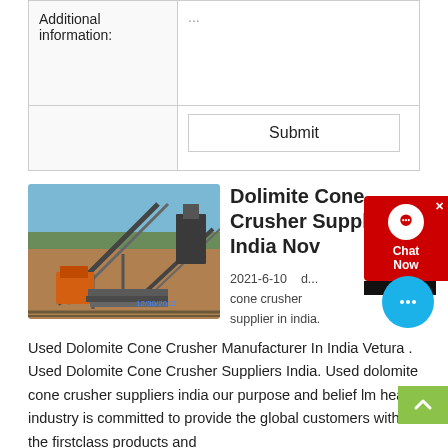|  |  |
| --- | --- |
| Additional information: | ... |
|  | Submit |
[Figure (photo): Industrial cone crusher / conveyor belt machinery at an outdoor mining site, dated 12/30/2012]
Dolimite Cone Crusher Supplier In India Nov
2021-6-10   d... cone crusher supplier in india. Used Dolomite Cone Crusher Manufacturer In India Vetura . Used Dolomite Cone Crusher Suppliers India. Used dolomite cone crusher suppliers india our purpose and belief lm heavy industry is committed to provide the global customers with the firstclass products and